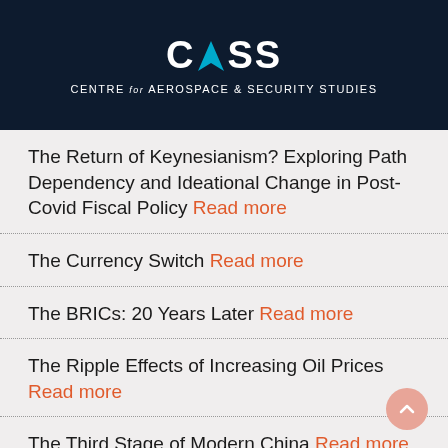[Figure (logo): CASS - Centre for Aerospace & Security Studies logo with stylized arrow replacing the A in CASS, white text on dark navy background]
The Return of Keynesianism? Exploring Path Dependency and Ideational Change in Post-Covid Fiscal Policy Read more
The Currency Switch Read more
The BRICs: 20 Years Later Read more
The Ripple Effects of Increasing Oil Prices Read more
The Third Stage of Modern China Read more
Evolving Geo-economic Landscape: Opportunity for Deeper Economic Ties between Iran and Pakistan Read